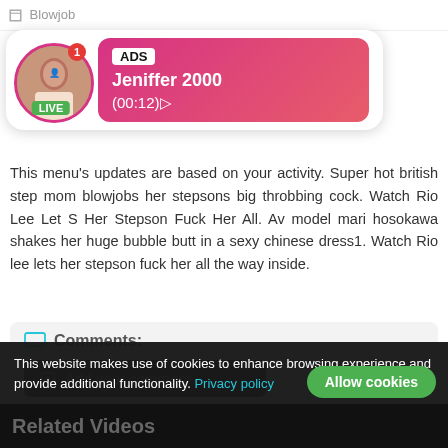[Figure (screenshot): Ad popup showing a live stream thumbnail with avatar of a woman, pink gradient banner with ADS label, username Jeniffer 2000, time (00:12), and LIVE badge]
This menu's updates are based on your activity. Super hot british step mom blowjobs her stepsons big throbbing cock. Watch Rio Lee Let S Her Stepson Fuck Her All. Av model mari hosokawa shakes her huge bubble butt in a sexy chinese dress1. Watch Rio lee lets her stepson fuck her all the way inside.
Comments:
Add your comment
This website makes use of cookies to enhance browsing experience and provide additional functionality. Privacy policy
Related Videos
Allow cookies